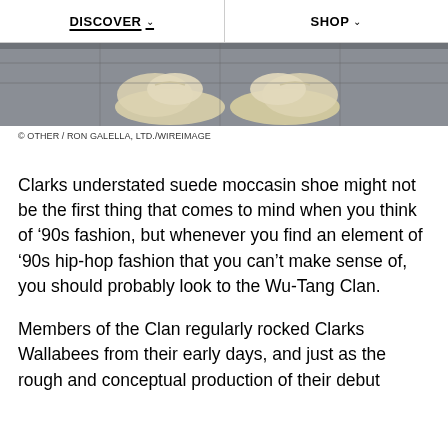DISCOVER   SHOP
[Figure (photo): Close-up photo of white/cream Clarks Wallabees suede moccasin shoes on a grey surface with a grid/rack visible in background]
© OTHER / RON GALELLA, LTD./WIREIMAGE
Clarks understated suede moccasin shoe might not be the first thing that comes to mind when you think of ‘90s fashion, but whenever you find an element of ‘90s hip-hop fashion that you can’t make sense of, you should probably look to the Wu-Tang Clan.
Members of the Clan regularly rocked Clarks Wallabees from their early days, and just as the rough and conceptual production of their debut